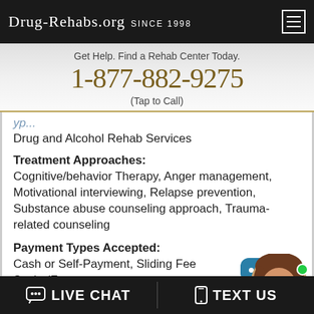Drug-Rehabs.org Since 1998
Get Help. Find a Rehab Center Today.
1-877-882-9275
(Tap to Call)
Drug and Alcohol Rehab Services
Treatment Approaches:
Cognitive/behavior Therapy, Anger management, Motivational interviewing, Relapse prevention, Substance abuse counseling approach, Trauma-related counseling
Payment Types Accepted:
Cash or Self-Payment, Sliding Fee Scale (Fee Based On Income and Other Factors), Payment Assistance (Check With Facility For Details)
LIVE CHAT   TEXT US